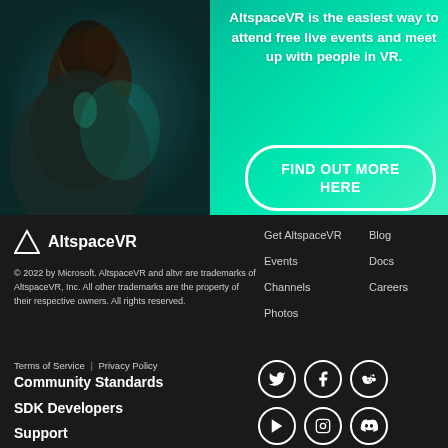[Figure (photo): Hero section with teal/green gradient background and person photographed from behind on the left side. Text overlay on right side.]
AltspaceVR is the easiest way to attend free live events and meet up with people in VR.
FIND OUT MORE HERE
[Figure (logo): AltspaceVR logo with triangle icon and text]
© 2022 by Microsoft. AltspaceVR and altvr are trademarks of AltspaceVR, Inc. All other trademarks are the property of their respective owners. All rights reserved.
Get AltspaceVR
Blog
Events
Docs
Channels
Careers
Photos
Terms of Service | Privacy Policy
Community Standards
SDK Developers
Support